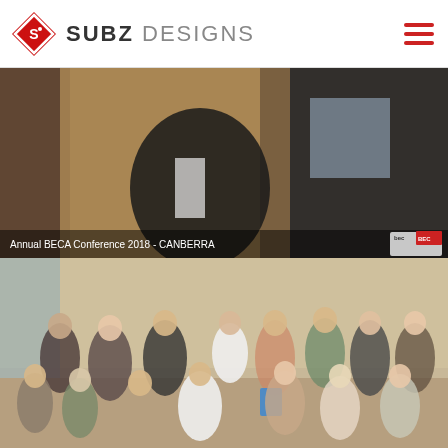[Figure (logo): Subz Designs logo with red diamond shape and company name]
[Figure (photo): Two men in dark suits at the Annual BECA Conference 2018 - CANBERRA, with watermark/logo in bottom right corner]
Annual BECA Conference 2018 - CANBERRA
[Figure (photo): Group photo of approximately 13 people posing together indoors, some holding a blue award or plaque]